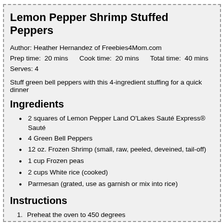Lemon Pepper Shrimp Stuffed Peppers
Author: Heather Hernandez of Freebies4Mom.com
Prep time: 20 mins    Cook time: 20 mins    Total time: 40 mins
Serves: 4
Stuff green bell peppers with this 4-ingredient stuffing for a quick dinner
Ingredients
2 squares of Lemon Pepper Land O'Lakes Sauté Express® Sauté
4 Green Bell Peppers
12 oz. Frozen Shrimp (small, raw, peeled, deveined, tail-off)
1 cup Frozen peas
2 cups White rice (cooked)
Parmesan (grated, use as garnish or mix into rice)
Instructions
Preheat the oven to 450 degrees
Melt the Lemon Pepper squares in a saute pan over medium heat
While you're waiting for it to melt, carefully slice the tops of the gre Rinse with water to remove any remaining seeds. Place the peppe
Saute the frozen shrimp in the Lemon Pepper until the shrimp is c
Add the frozen peas and saute for a few minutes